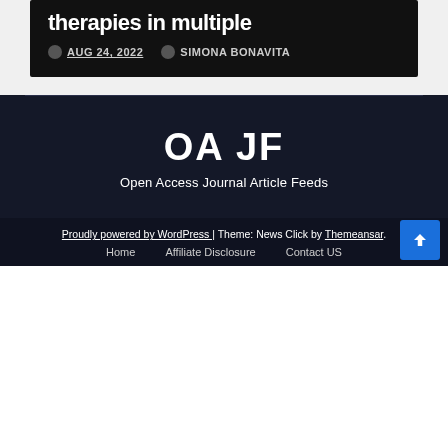therapies in multiple
AUG 24, 2022  SIMONA BONAVITA
OA JF
Open Access Journal Article Feeds
Proudly powered by WordPress | Theme: News Click by Themeansar.
Home   Affiliate Disclosure   Contact US